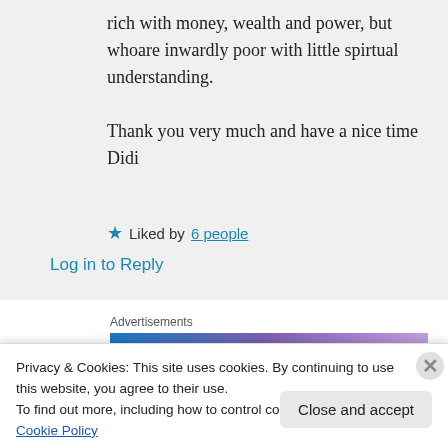rich with money, wealth and power, but whoare inwardly poor with little spirtual understanding.

Thank you very much and have a nice time Didi
★ Liked by 6 people
Log in to Reply
Advertisements
[Figure (other): Advertisement banner with gradient background showing 'Simplified pricing for']
Privacy & Cookies: This site uses cookies. By continuing to use this website, you agree to their use.
To find out more, including how to control cookies, see here: Cookie Policy